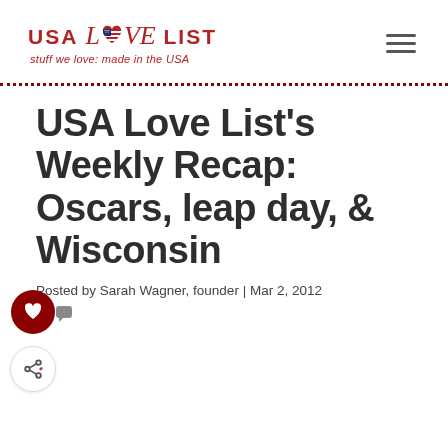USA Love List – stuff we love: made in the USA
USA Love List's Weekly Recap: Oscars, leap day, & Wisconsin
Posted by Sarah Wagner, founder | Mar 2, 2012
| 0